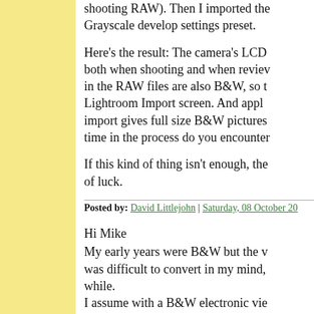shooting RAW). Then I imported the Grayscale develop settings preset.
Here's the result: The camera's LCD both when shooting and when review in the RAW files are also B&W, so t Lightroom Import screen. And apply import gives full size B&W pictures time in the process do you encounter
If this kind of thing isn't enough, the of luck.
Posted by: David Littlejohn | Saturday, 08 October 20
Hi Mike
My early years were B&W but the v was difficult to convert in my mind, while.
I assume with a B&W electronic vie especially if you had filter buttons so